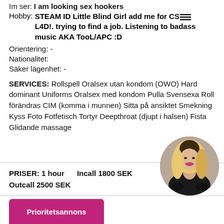Im ser: I am looking sex hookers
Hobby: STEAM ID Little Blind Girl add me for CS:GO L4D!. trying to find a job. Listening to badass music AKA TooL/APC :D
Orientering: -
Nationalitet:
Säker lägenhet: -
SERVICES: Rollspell Oralsex utan kondom (OWO) Hard dominant Uniforms Oralsex med kondom Pulla Svensexa Roll förändras CIM (komma i munnen) Sitta på ansiktet Smekning Kyss Foto Fotfetisch Tortyr Deepthroat (djupt i halsen) Fista Glidande massage
PRISER: 1 hour   Incall 1800 SEK
Outcall 2500 SEK
[Figure (photo): Circular profile photo of a blonde woman in dark lingerie, smiling]
Prioritetsannons